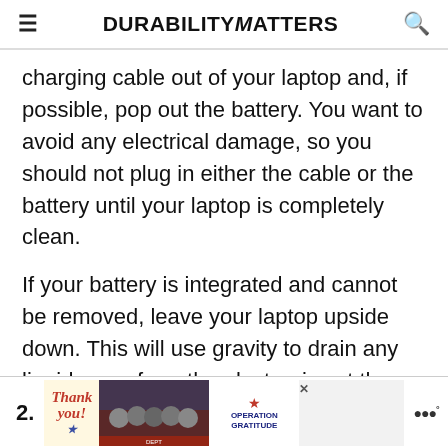DURABILITYMATTERS
charging cable out of your laptop and, if possible, pop out the battery. You want to avoid any electrical damage, so you should not plug in either the cable or the battery until your laptop is completely clean.
If your battery is integrated and cannot be removed, leave your laptop upside down. This will use gravity to drain any liquid away from the electronics at the bottom of the laptop, like the motherboard.
[Figure (screenshot): Advertisement banner showing Operation Gratitude with a thank you message and group photo of firefighters/military personnel]
2.